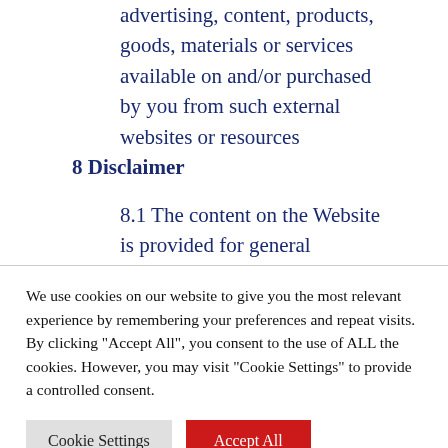advertising, content, products, goods, materials or services available on and/or purchased by you from such external websites or resources
8 Disclaimer
8.1 The content on the Website is provided for general
We use cookies on our website to give you the most relevant experience by remembering your preferences and repeat visits. By clicking "Accept All", you consent to the use of ALL the cookies. However, you may visit "Cookie Settings" to provide a controlled consent.
Cookie Settings
Accept All